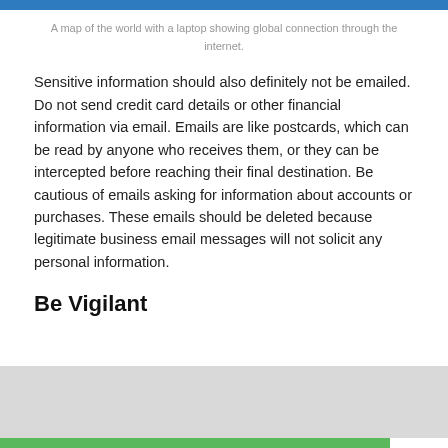A map of the world with a laptop showing global connection through the internet.
Sensitive information should also definitely not be emailed. Do not send credit card details or other financial information via email. Emails are like postcards, which can be read by anyone who receives them, or they can be intercepted before reaching their final destination. Be cautious of emails asking for information about accounts or purchases. These emails should be deleted because legitimate business email messages will not solicit any personal information.
Be Vigilant